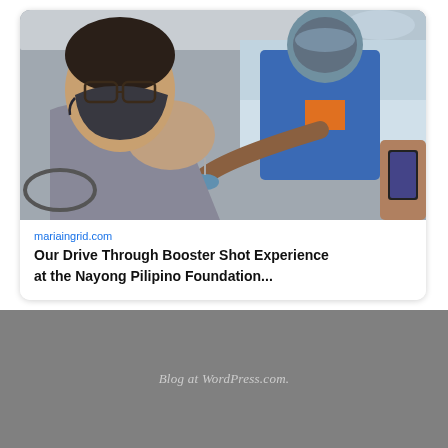[Figure (photo): A man wearing a dark face mask sitting in a car receiving a vaccination/booster shot from a healthcare worker in a blue and orange shirt, also masked. Another person in the car holds a phone.]
mariaingrid.com
Our Drive Through Booster Shot Experience at the Nayong Pilipino Foundation...
Blog at WordPress.com.